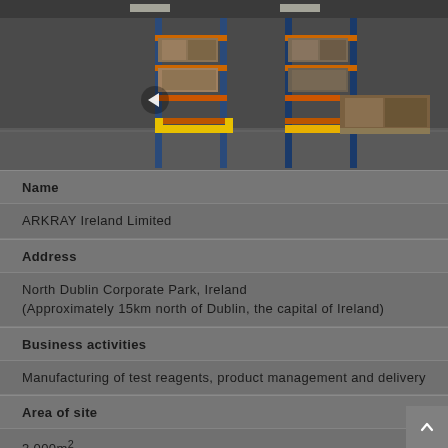[Figure (photo): Interior of a warehouse with tall metal shelving racks (blue and orange uprights with yellow safety guards), stacked with boxes and crates on pallets. Concrete floor visible.]
| Name |  |
| ARKRAY Ireland Limited |  |
| Address |  |
| North Dublin Corporate Park, Ireland
(Approximately 15km north of Dublin, the capital of Ireland) |  |
| Business activities |  |
| Manufacturing of test reagents, product management and delivery |  |
| Area of site |  |
| 3,000m² |  |
| Total floor area |  |
| 2,000m² |  |
| Number of Employees |  |